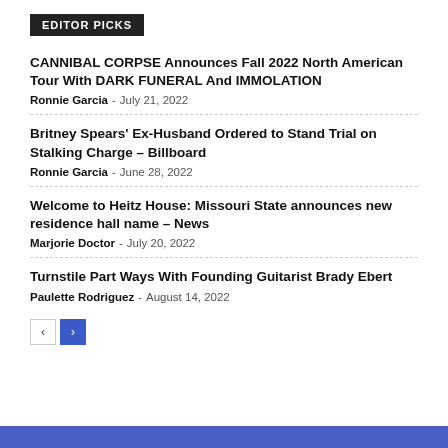EDITOR PICKS
CANNIBAL CORPSE Announces Fall 2022 North American Tour With DARK FUNERAL And IMMOLATION
Ronnie Garcia - July 21, 2022
Britney Spears' Ex-Husband Ordered to Stand Trial on Stalking Charge – Billboard
Ronnie Garcia - June 28, 2022
Welcome to Heitz House: Missouri State announces new residence hall name – News
Marjorie Doctor - July 20, 2022
Turnstile Part Ways With Founding Guitarist Brady Ebert
Paulette Rodriguez - August 14, 2022